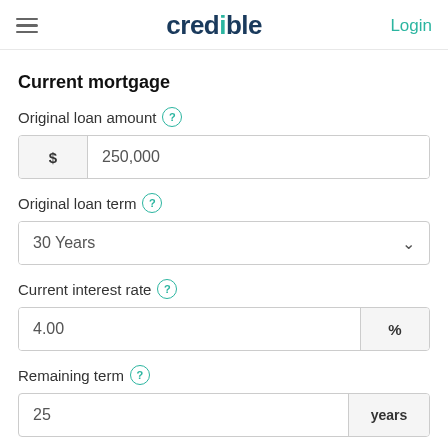credible | Login
Current mortgage
Original loan amount ?
$ 250,000
Original loan term ?
30 Years
Current interest rate ?
4.00 %
Remaining term ?
25 years